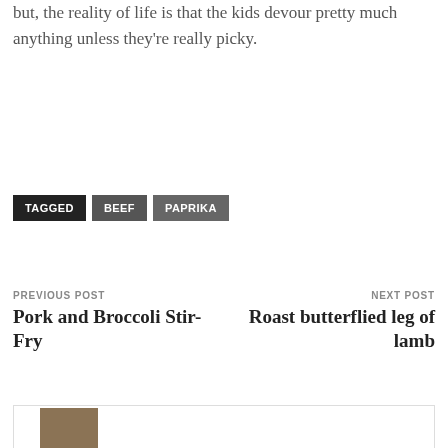but, the reality of life is that the kids devour pretty much anything unless they're really picky.
TAGGED  BEEF  PAPRIKA
PREVIOUS POST
Pork and Broccoli Stir-Fry
NEXT POST
Roast butterflied leg of lamb